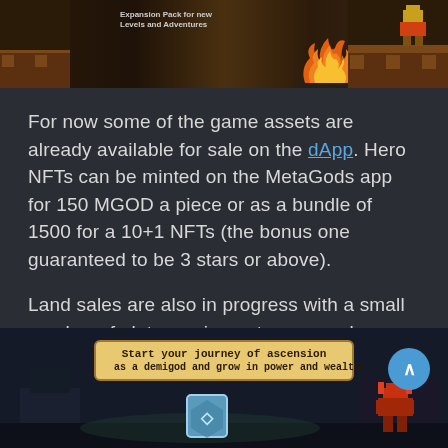[Figure (screenshot): Pixel art game banner showing a side-scrolling game level with fire, brick walls, and text 'Expansion Pack for new Levels and Adventures']
For now some of the game assets are already available for sale on the dApp. Hero NFTs can be minted on the MetaGods app for 150 MGOD a piece or as a bundle of 1500 for a 10+1 NFTs (the bonus one guaranteed to be 3 stars or above).
Land sales are also in progress with a small number of plots coming out on a regular basis, and these tend to sell out very quickly.
[Figure (screenshot): Game screenshot showing a dark dungeon scene with a scroll banner reading 'Start your journey of ascension as a demigod and grow in power and wealth!' and pixel art characters and gems]